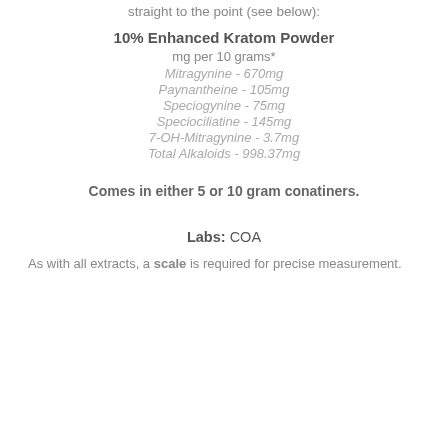straight to the point (see below):
10% Enhanced Kratom Powder
mg per 10 grams*
Mitragynine - 670mg
Paynantheine - 105mg
Speciogynine - 75mg
Speciociliatine - 145mg
7-OH-Mitragynine - 3.7mg
Total Alkaloids - 998.37mg
Comes in either 5 or 10 gram conatiners.
Labs: COA
As with all extracts, a scale is required for precise measurement.